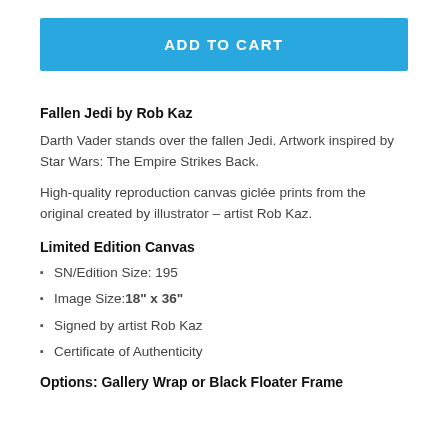ADD TO CART
Fallen Jedi by Rob Kaz
Darth Vader stands over the fallen Jedi. Artwork inspired by Star Wars: The Empire Strikes Back.
High-quality reproduction canvas giclée prints from the original created by illustrator – artist Rob Kaz.
Limited Edition Canvas
SN/Edition Size: 195
Image Size: 18" x 36"
Signed by artist Rob Kaz
Certificate of Authenticity
Options: Gallery Wrap or Black Floater Frame